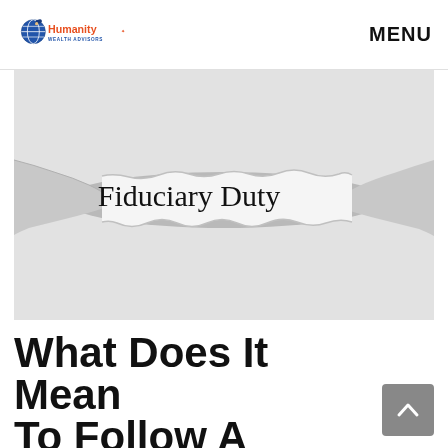Humanity Wealth Advisors | MENU
[Figure (photo): Torn paper revealing text 'Fiduciary Duty' on a light grey background]
What Does It Mean To Follow A Fiduciary